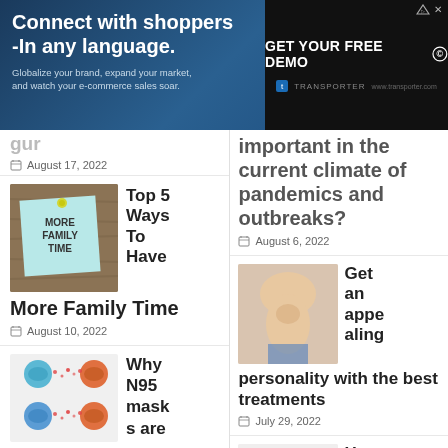[Figure (photo): Advertisement banner: Connect with shoppers in any language. Globalize your brand, expand your market, and watch your e-commerce sales soar. GET YOUR FREE DEMO button. TRANSPORTER logo.]
August 17, 2022
[Figure (photo): Sticky note on wood background with text: MORE FAMILY TIME with a thumbtack]
Top 5 Ways To Have More Family Time
August 10, 2022
[Figure (illustration): Two people facing each other wearing masks with red droplet particles between them (N95 mask illustration)]
Why N95 masks are important in the current climate of pandemics and
important in the current climate of pandemics and outbreaks?
August 6, 2022
[Figure (photo): Person's elbow/arm skin close-up photo]
Get an appealing personality with the best treatments
July 29, 2022
[Figure (illustration): Anatomical illustration of heart and lungs]
How does peric